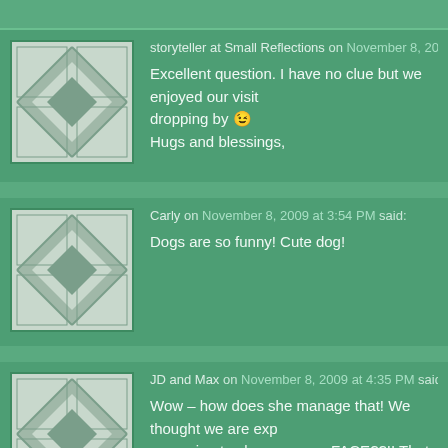storyteller at Small Reflections on November 8, 2009 at 11:31 AM said:
Excellent question. I have no clue but we enjoyed our visit dropping by 😉
Hugs and blessings,
Carly on November 8, 2009 at 3:54 PM said:
Dogs are so funny! Cute dog!
JD and Max on November 8, 2009 at 4:35 PM said:
Wow – how does she manage that! We thought we are exp managing to sleep on your FACE??!! That is impressive!! S JD and Max.